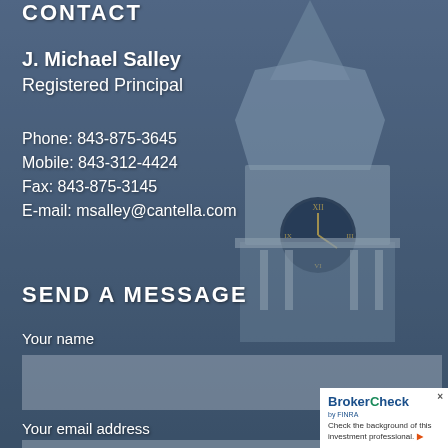CONTACT
J. Michael Salley
Registered Principal
Phone: 843-875-3645
Mobile: 843-312-4424
Fax: 843-875-3145
E-mail: msalley@cantella.com
SEND A MESSAGE
Your name
Your email address
[Figure (screenshot): BrokerCheck by FINRA widget showing 'Check the background of this investment professional.']